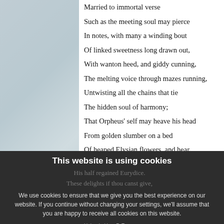[Figure (illustration): Light blue-grey textured decorative left panel]
Married to immortal verse
Such as the meeting soul may pierce
In notes, with many a winding bout
Of linked sweetness long drawn out,
With wanton heed, and giddy cunning,
The melting voice through mazes running,
Untwisting all the chains that tie
The hidden soul of harmony;
That Orpheus' self may heave his head
From golden slumber on a bed
Of heaped Elysian flowers, and hear
Such strains as would have won the ear
Of Pluto, to have quite set free
His half regained Eurydice.
These delights if thou canst give,
This website is using cookies
We use cookies to ensure that we give you the best experience on our website. If you continue without changing your settings, we'll assume that you are happy to receive all cookies on this website.
Uploaded by	P. T.
Source of the quotation	http://www.readprint.com/work-1237/L-A John Milton
Agree	Read more